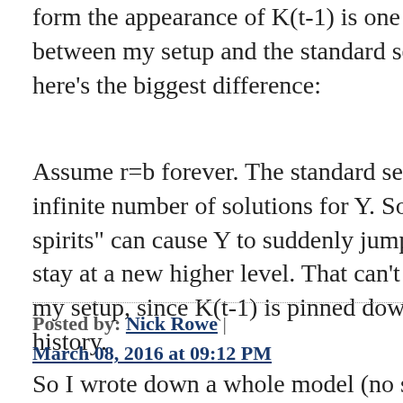form the appearance of K(t-1) is one difference between my setup and the standard setup. But here's the biggest difference:
Assume r=b forever. The standard setup has an infinite number of solutions for Y. So "animal spirits" can cause Y to suddenly jump up and stay at a new higher level. That can't happen in my setup, since K(t-1) is pinned down by history.
Posted by: Nick Rowe | March 08, 2016 at 09:12 PM
So I wrote down a whole model (no sticky prices